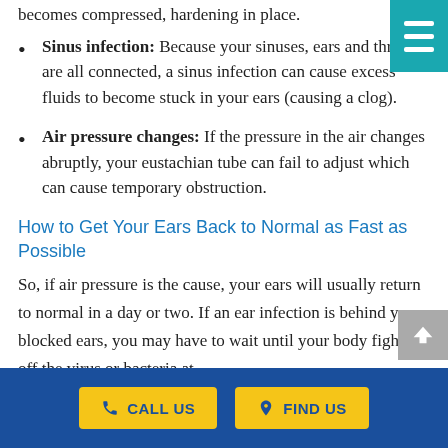becomes compressed, hardening in place.
Sinus infection: Because your sinuses, ears and throat are all connected, a sinus infection can cause excess fluids to become stuck in your ears (causing a clog).
Air pressure changes: If the pressure in the air changes abruptly, your eustachian tube can fail to adjust which can cause temporary obstruction.
How to Get Your Ears Back to Normal as Fast as Possible
So, if air pressure is the cause, your ears will usually return to normal in a day or two. If an ear infection is behind your blocked ears, you may have to wait until your body fights off the virus or bacteria at
CALL US   FIND US